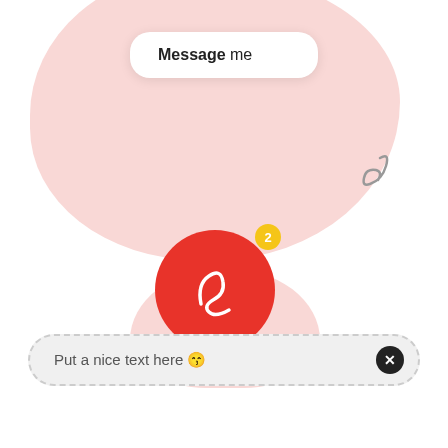[Figure (screenshot): Messaging UI mockup with pink blob background shapes, a white rounded 'Message me' button, a cursive handwritten symbol top right, a red circular avatar with a yellow notification badge showing 2, and a dashed input bar at the bottom with placeholder text 'Put a nice text here 😙' and a close button.]
Message me
Put a nice text here 😙